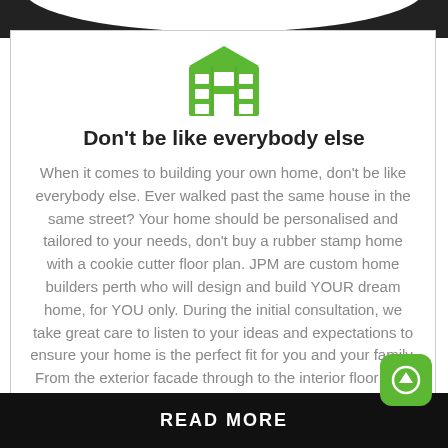[Figure (illustration): Green building/apartment icon with windows]
Don't be like everybody else
When it comes to building your own home, don't be like everybody else. Ever walked past the same house in the same street? Your home should be personalised and tailored to your needs, don't buy a rubber stamp home with a cookie cutter floor plan. JPM are custom home builders perth who will design and build YOUR dream home, for YOU only. During the initial consultation, we take great care to listen to your ideas and expectations to ensure your home is the perfect fit for you and your family. From the exterior facade through to the interior floor plan and finishing - we guarantee your home will stand out from the rest.
READ MORE